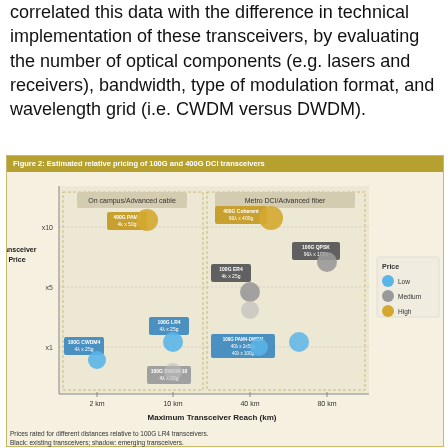correlated this data with the difference in technical implementation of these transceivers, by evaluating the number of optical components (e.g. lasers and receivers), bandwidth, type of modulation format, and wavelength grid (i.e. CWDM versus DWDM).
[Figure (scatter-plot): Scatter plot showing estimated relative pricing of 100G and 400G DCI transceivers vs maximum transceiver reach, with colored circles (Low=blue, Medium=gray, High=gold) and labeled boxes for each transceiver type.]
Prices rated for different distances relative to 100G LR4 transceivers. Black: existing transceivers; shadow: emerging transceivers.